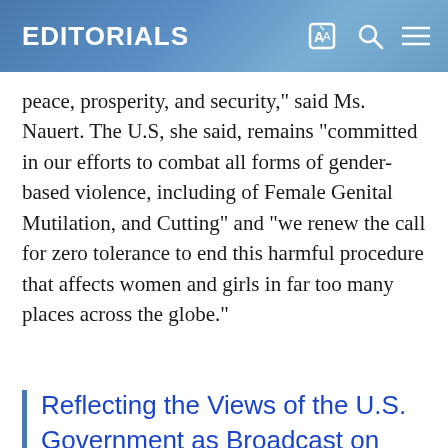EDITORIALS
peace, prosperity, and security," said Ms. Nauert. The U.S, she said, remains "committed in our efforts to combat all forms of gender-based violence, including of Female Genital Mutilation, and Cutting" and "we renew the call for zero tolerance to end this harmful procedure that affects women and girls in far too many places across the globe."
Reflecting the Views of the U.S. Government as Broadcast on The Voice of America